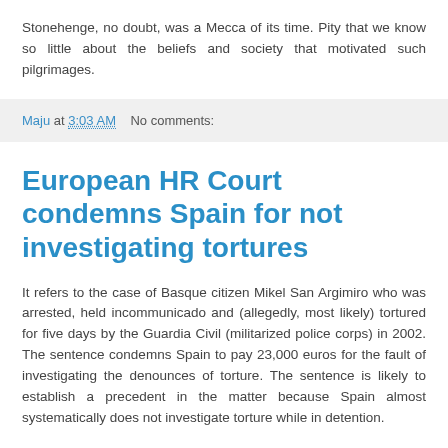Stonehenge, no doubt, was a Mecca of its time. Pity that we know so little about the beliefs and society that motivated such pilgrimages.
Maju at 3:03 AM    No comments:
European HR Court condemns Spain for not investigating tortures
It refers to the case of Basque citizen Mikel San Argimiro who was arrested, held incommunicado and (allegedly, most likely) tortured for five days by the Guardia Civil (militarized police corps) in 2002. The sentence condemns Spain to pay 23,000 euros for the fault of investigating the denounces of torture. The sentence is likely to establish a precedent in the matter because Spain almost systematically does not investigate torture while in detention.